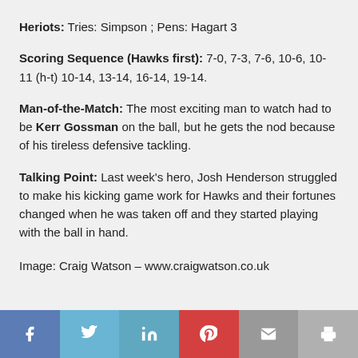Heriots: Tries: Simpson ; Pens: Hagart 3
Scoring Sequence (Hawks first): 7-0, 7-3, 7-6, 10-6, 10-11 (h-t) 10-14, 13-14, 16-14, 19-14.
Man-of-the-Match: The most exciting man to watch had to be Kerr Gossman on the ball, but he gets the nod because of his tireless defensive tackling.
Talking Point: Last week's hero, Josh Henderson struggled to make his kicking game work for Hawks and their fortunes changed when he was taken off and they started playing with the ball in hand.
Image: Craig Watson – www.craigwatson.co.uk
[Figure (other): Social share bar with Facebook, Twitter, LinkedIn, Pinterest, Email, and Print buttons]